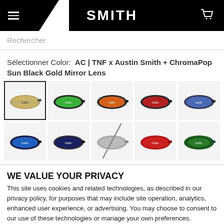SMITH
Rechercher
Sélectionner Color:  AC | TNF x Austin Smith + ChromaPop Sun Black Gold Mirror Lens
[Figure (photo): Grid of 10 ski/snowboard goggle color variants, first one selected (gold/tan lens), others showing green, orange/red, red, blue (row 1), blue, dark blue, grey/unavailable with cross, red, green (row 2)]
WE VALUE YOUR PRIVACY
This site uses cookies and related technologies, as described in our privacy policy, for purposes that may include site operation, analytics, enhanced user experience, or advertising. You may choose to consent to our use of these technologies or manage your own preferences.
OK
Show details